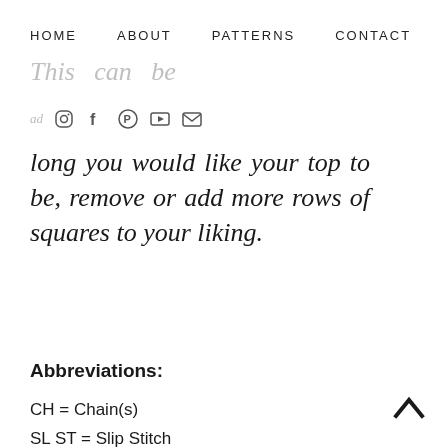HOME   ABOUT   PATTERNS   CONTACT
This can be
[Figure (other): Social media icons: Instagram, Facebook, Pinterest, YouTube, Email]
long you would like your top to be, remove or add more rows of squares to your liking.
Abbreviations:
CH = Chain(s)
SL ST = Slip Stitch
SC = Single Crochet
PS = Puff Stitch
DC = Double Crochet